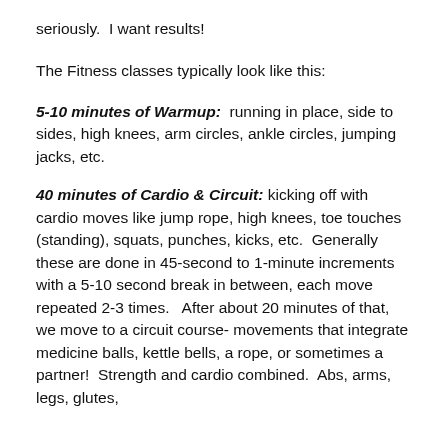seriously.  I want results!
The Fitness classes typically look like this:
5-10 minutes of Warmup:  running in place, side to sides, high knees, arm circles, ankle circles, jumping jacks, etc.
40 minutes of Cardio & Circuit: kicking off with cardio moves like jump rope, high knees, toe touches (standing), squats, punches, kicks, etc.  Generally these are done in 45-second to 1-minute increments with a 5-10 second break in between, each move repeated 2-3 times.   After about 20 minutes of that, we move to a circuit course- movements that integrate medicine balls, kettle bells, a rope, or sometimes a partner!  Strength and cardio combined.  Abs, arms, legs, glutes,